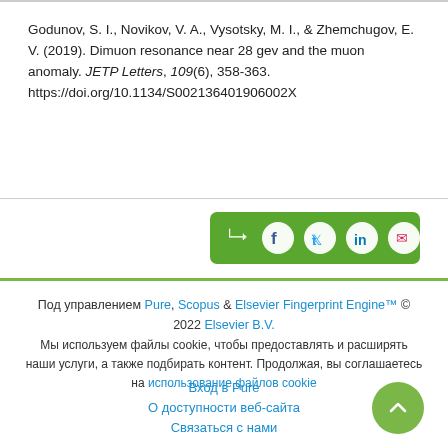Godunov, S. I., Novikov, V. A., Vysotsky, M. I., & Zhemchugov, E. V. (2019). Dimuon resonance near 28 gev and the muon anomaly. JETP Letters, 109(6), 358-363. https://doi.org/10.1134/S002136401906002X
[Figure (other): Social share bar with icons for share, Facebook, Twitter, LinkedIn, and email on a green background]
Под управлением Pure, Scopus & Elsevier Fingerprint Engine™ © 2022 Elsevier B.V.
Мы используем файлы cookie, чтобы предоставлять и расширять наши услуги, а также подбирать контент. Продолжая, вы соглашаетесь на использование файлов cookie
Вход в Pure
О доступности веб-сайта
Связаться с нами